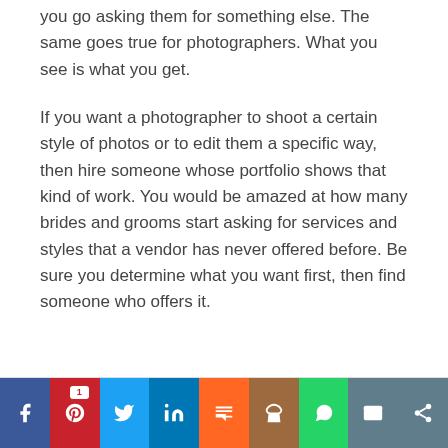you go asking them for something else. The same goes true for photographers. What you see is what you get.
If you want a photographer to shoot a certain style of photos or to edit them a specific way, then hire someone whose portfolio shows that kind of work. You would be amazed at how many brides and grooms start asking for services and styles that a vendor has never offered before. Be sure you determine what you want first, then find someone who offers it.
[Figure (other): Social sharing bar with buttons for Facebook, Pinterest (with badge count 1), Twitter, LinkedIn, Mix, Yummly, WhatsApp, Email, and Share]